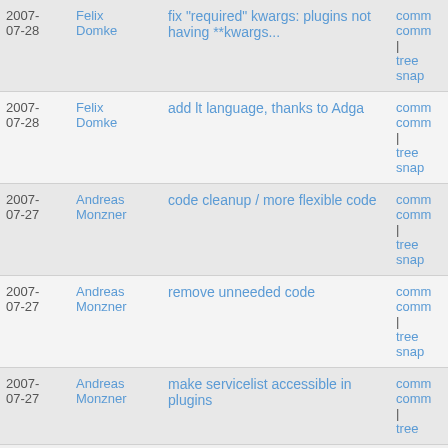| Date | Author | Message | Links |
| --- | --- | --- | --- |
| 2007-07-28 | Felix Domke | fix "required" kwargs: plugins not having **kwargs... | comm
comm
| tree
snap |
| 2007-07-28 | Felix Domke | add lt language, thanks to Adga | comm
comm
| tree
snap |
| 2007-07-27 | Andreas Monzner | code cleanup / more flexible code | comm
comm
| tree
snap |
| 2007-07-27 | Andreas Monzner | remove unneeded code | comm
comm
| tree
snap |
| 2007-07-27 | Andreas Monzner | make servicelist accessible in plugins | comm
comm
| tree |